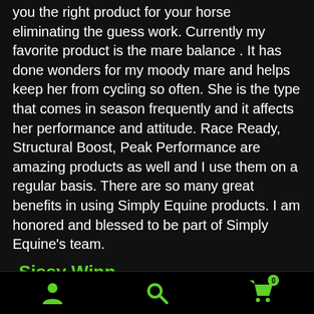Heather can help with your horses needs and send you the right product for your horse eliminating the guess work. Currently my favorite product is the mare balance . It has done wonders for my moody mare and helps keep her from cycling so often. She is the type that comes in season frequently and it affects her performance and attitude. Race Ready, Structural Boost, Peak Performance are amazing products as well and I use them on a regular basis. There are so many great benefits in using Simply Equine products. I am honored and blessed to be part of Simply Equine's team.
-Sissy Winn
I have been on my journey with Simply Equine for about 5 years now. It began as a last resort for a
[Figure (screenshot): Mobile app bottom navigation bar with three icons: person/user icon (green), search/magnifying glass icon (green), shopping cart icon (green) with badge showing 0]